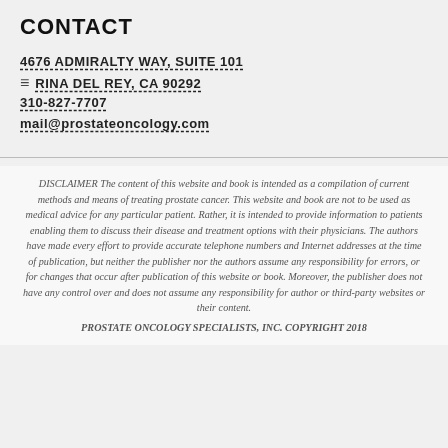CONTACT
4676 ADMIRALTY WAY, SUITE 101
MARINA DEL REY, CA 90292
310-827-7707
mail@prostateoncology.com
DISCLAIMER The content of this website and book is intended as a compilation of current methods and means of treating prostate cancer. This website and book are not to be used as medical advice for any particular patient. Rather, it is intended to provide information to patients enabling them to discuss their disease and treatment options with their physicians. The authors have made every effort to provide accurate telephone numbers and Internet addresses at the time of publication, but neither the publisher nor the authors assume any responsibility for errors, or for changes that occur after publication of this website or book. Moreover, the publisher does not have any control over and does not assume any responsibility for author or third-party websites or their content.
PROSTATE ONCOLOGY SPECIALISTS, INC. COPYRIGHT 2018